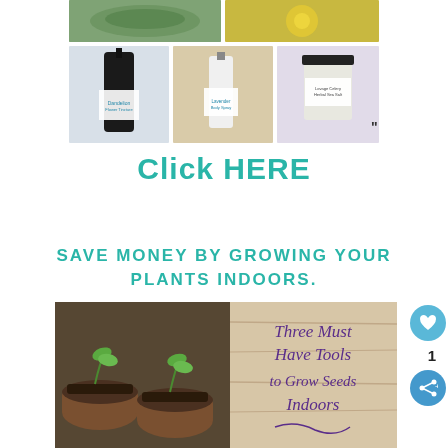[Figure (photo): Collage of herbal product photos: top row shows herbs in bowl and yellow flower balm tin; bottom row shows three product bottles/jars with labels: Dandelion flower tincture, Lavender Body spray, and Lovage Celery Herbal Sea Salt. Quotation mark visible at right.]
Click HERE
SAVE MONEY BY GROWING YOUR PLANTS INDOORS.
[Figure (photo): Image of seedlings growing in peat pots with text overlay in purple script: 'Three Must Have Tools to Grow Seeds Indoors']